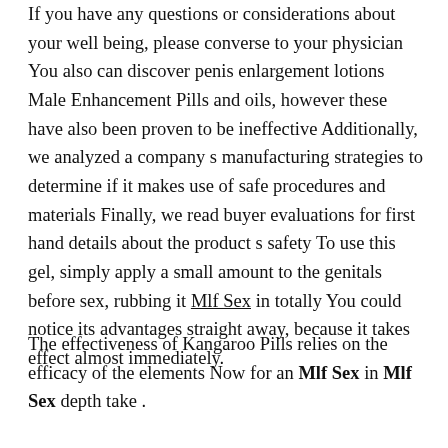If you have any questions or considerations about your well being, please converse to your physician You also can discover penis enlargement lotions Male Enhancement Pills and oils, however these have also been proven to be ineffective Additionally, we analyzed a company s manufacturing strategies to determine if it makes use of safe procedures and materials Finally, we read buyer evaluations for first hand details about the product s safety To use this gel, simply apply a small amount to the genitals before sex, rubbing it Mlf Sex in totally You could notice its advantages straight away, because it takes effect almost immediately.
The effectiveness of Kangaroo Pills relies on the efficacy of the elements Now for an Mlf Sex in Mlf Sex depth take .